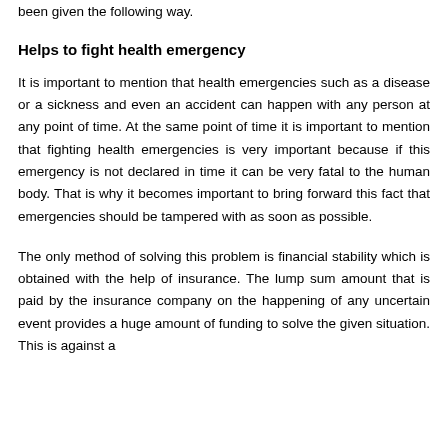been given the following way.
Helps to fight health emergency
It is important to mention that health emergencies such as a disease or a sickness and even an accident can happen with any person at any point of time. At the same point of time it is important to mention that fighting health emergencies is very important because if this emergency is not declared in time it can be very fatal to the human body. That is why it becomes important to bring forward this fact that emergencies should be tampered with as soon as possible.
The only method of solving this problem is financial stability which is obtained with the help of insurance. The lump sum amount that is paid by the insurance company on the happening of any uncertain event provides a huge amount of funding to solve the given situation. This is against a